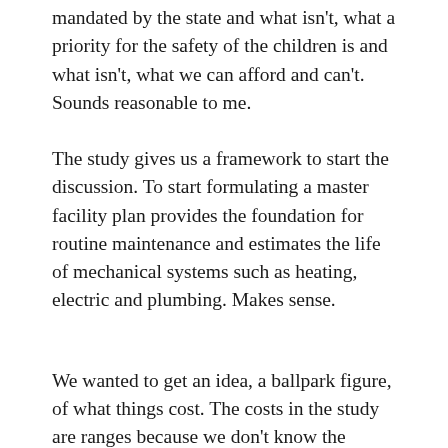mandated by the state and what isn't, what a priority for the safety of the children is and what isn't, what we can afford and can't. Sounds reasonable to me.
The study gives us a framework to start the discussion. To start formulating a master facility plan provides the foundation for routine maintenance and estimates the life of mechanical systems such as heating, electric and plumbing. Makes sense.
We wanted to get an idea, a ballpark figure, of what things cost. The costs in the study are ranges because we don't know the extent of the work. It's nice and convenient to pick a few items out of the hundreds identified and provide information in an editorial of the